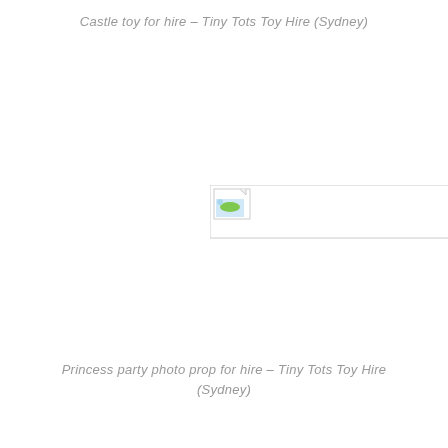Castle toy for hire – Tiny Tots Toy Hire (Sydney)
[Figure (photo): Broken/missing image placeholder showing a small image icon with a landscape thumbnail in top-left corner, inside a rectangular border]
Princess party photo prop for hire – Tiny Tots Toy Hire (Sydney)